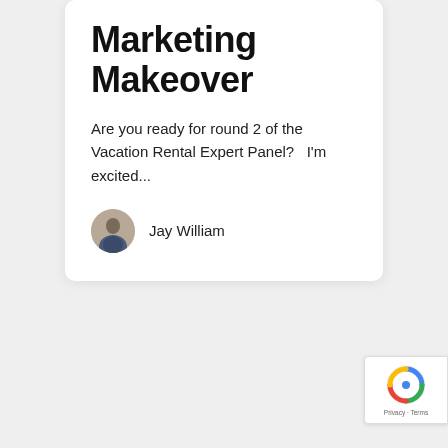Marketing Makeover
Are you ready for round 2 of the Vacation Rental Expert Panel?   I'm excited...
Jay William
[Figure (other): reCAPTCHA badge with Privacy and Terms links]